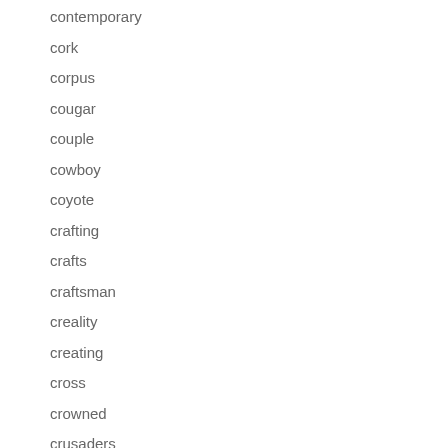contemporary
cork
corpus
cougar
couple
cowboy
coyote
crafting
crafts
craftsman
creality
creating
cross
crowned
crusaders
cuckoo